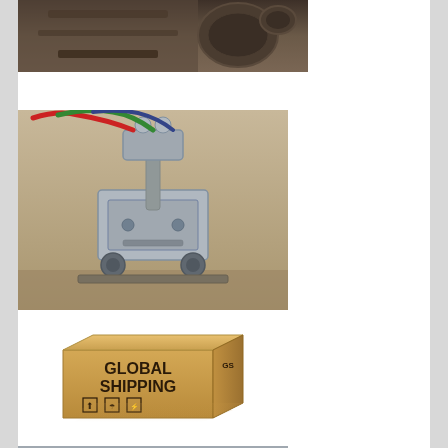[Figure (photo): Partial view of industrial machinery or equipment, photographed from below or close-up showing metal components and fixtures, cropped at the top of the page.]
[Figure (photo): A gas cutting or welding torch machine/carriage with hoses (red, green, blue) attached, sitting on a metal surface. The device appears to be a track-based cutting machine with mechanical components.]
[Figure (photo): A cardboard shipping box with 'GLOBAL SHIPPING' text printed on its face, along with handling symbols. The box casts a reflection on the surface beneath it.]
[Figure (photo): Partial view of industrial equipment or machinery at the bottom of the page, cropped and only partially visible.]